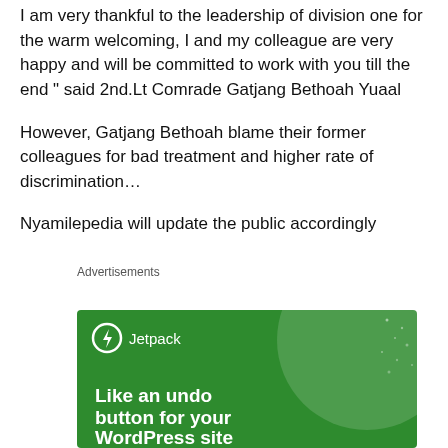I am very thankful to the leadership of division one for the warm welcoming, I and my colleague are very happy and will be committed to work with you till the end " said 2nd.Lt Comrade Gatjang Bethoah Yuaal
However, Gatjang Bethoah blame their former colleagues for bad treatment and higher rate of discrimination...
Nyamilepedia will update the public accordingly
Advertisements
[Figure (illustration): Jetpack advertisement banner with green background, circular gradient overlay, Jetpack logo with lightning bolt icon, and text 'Like an undo button for your WordPress site']